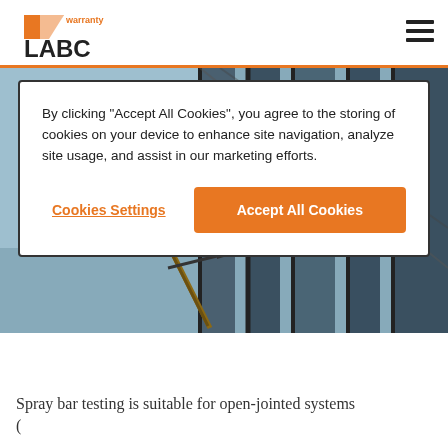LABC warranty
By clicking “Accept All Cookies”, you agree to the storing of cookies on your device to enhance site navigation, analyze site usage, and assist in our marketing efforts.
Cookies Settings | Accept All Cookies
[Figure (photo): Close-up photo of a glass curtain wall facade with spray bar testing equipment, showing metal framing and blue sky reflection]
Spray bar testing is suitable for open-jointed systems (